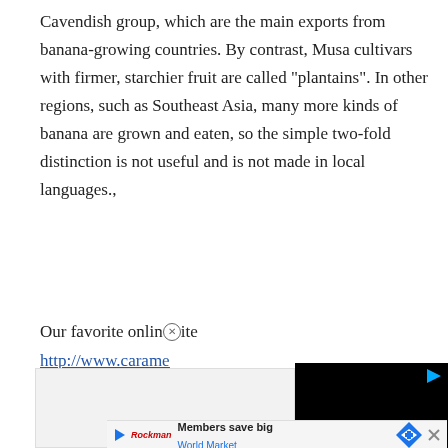Cavendish group, which are the main exports from banana-growing countries. By contrast, Musa cultivars with firmer, starchier fruit are called "plantains". In other regions, such as Southeast Asia, many more kinds of banana are grown and eaten, so the simple two-fold distinction is not useful and is not made in local languages.,
Our favorite online site
http://www.carame...package/
[Figure (other): Black video player overlay with play button triangle in top-right corner]
[Figure (other): Advertisement banner: Members save big - World Market, with logo and navigation icon]